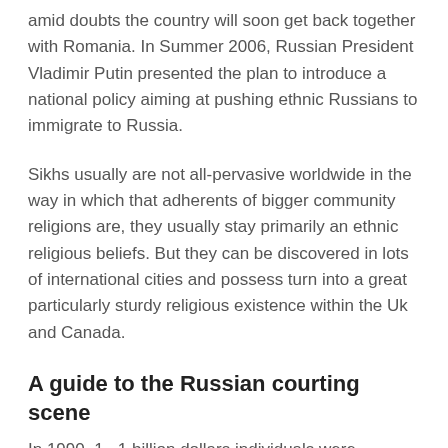amid doubts the country will soon get back together with Romania. In Summer 2006, Russian President Vladimir Putin presented the plan to introduce a national policy aiming at pushing ethnic Russians to immigrate to Russia.
Sikhs usually are not all-pervasive worldwide in the way in which that adherents of bigger community religions are, they usually stay primarily an ethnic religious beliefs. But they can be discovered in lots of international cities and possess turn into a great particularly sturdy religious existence within the Uk and Canada.
A guide to the Russian courting scene
In 1990, 1 . 1 billion dollars individuals were Muslims, although in 2010, 1 . 6 billion folks are generally Muslims. According to the BBC, an entire American verify concluded in 2009 the